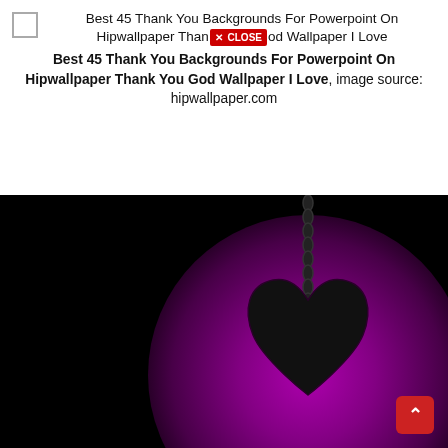Best 45 Thank You Backgrounds For Powerpoint On Hipwallpaper Thank [CLOSE] You God Wallpaper I Love
Best 45 Thank You Backgrounds For Powerpoint On Hipwallpaper Thank You God Wallpaper I Love, image source: hipwallpaper.com
[Figure (photo): Dark background with purple/magenta radial glow on right side, showing a black heart silhouette hanging from a dark chain against the glowing purple background.]